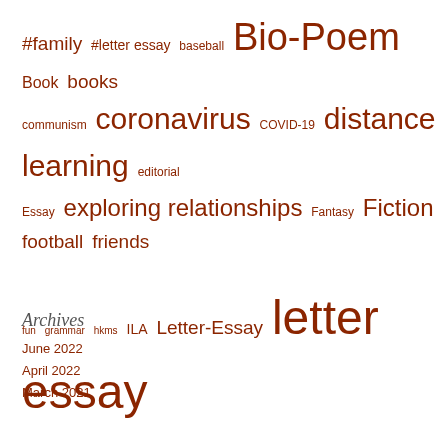[Figure (infographic): Tag cloud with education/writing related tags in varying sizes, all in dark red/brown color. Tags include: #family, #letter essay, baseball, Bio-Poem, Book, books, communism, coronavirus, COVID-19, distance learning, editorial, Essay, exploring relationships, Fantasy, Fiction, football, friends, fun, grammar, hkms, ILA, Letter-Essay, letter essay, Letter Essay #9, memoir, myself, mystery, poetry, reading, reading goal, reading reflection, read this, realistic fiction, Reflection, school, soccer, social media, sports, Student work, Student Writing, Summer Vacation, Voice Thread, where i'm from, writing]
Archives
June 2022
April 2022
March 2021